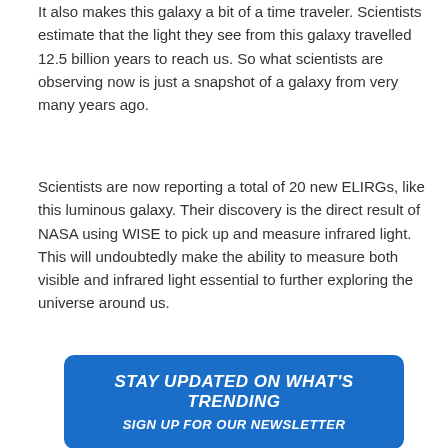It also makes this galaxy a bit of a time traveler. Scientists estimate that the light they see from this galaxy travelled 12.5 billion years to reach us. So what scientists are observing now is just a snapshot of a galaxy from very many years ago.
Scientists are now reporting a total of 20 new ELIRGs, like this luminous galaxy. Their discovery is the direct result of NASA using WISE to pick up and measure infrared light. This will undoubtedly make the ability to measure both visible and infrared light essential to further exploring the universe around us.
[Figure (other): Blue rounded rectangle banner with bold italic white text reading 'STAY UPDATED ON WHAT'S TRENDING' on top line and 'SIGN UP FOR OUR NEWSLETTER' on second line.]